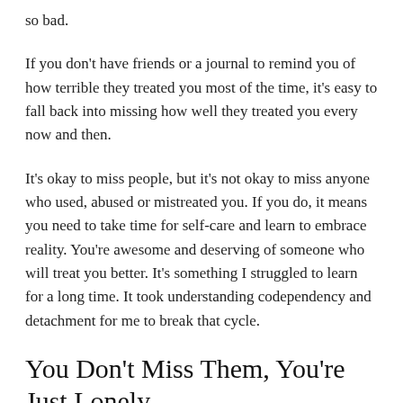so bad.
If you don't have friends or a journal to remind you of how terrible they treated you most of the time, it's easy to fall back into missing how well they treated you every now and then.
It's okay to miss people, but it's not okay to miss anyone who used, abused or mistreated you. If you do, it means you need to take time for self-care and learn to embrace reality. You're awesome and deserving of someone who will treat you better. It's something I struggled to learn for a long time. It took understanding codependency and detachment for me to break that cycle.
You Don't Miss Them, You're Just Lonely
If you only miss the person when you're lonely, then you don't really miss the person. When we're lonely, sometimes we think back to our past and wish we could lean on someone who isn't